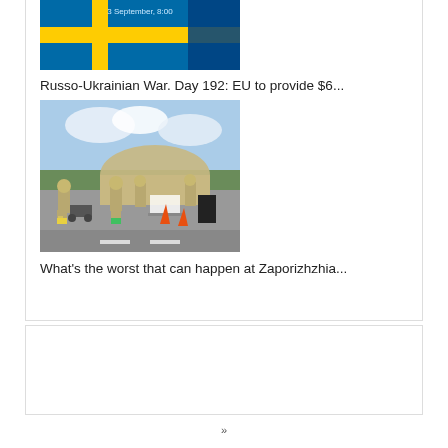[Figure (photo): Flags (Swedish blue and yellow flag and another blue flag) with timestamp overlay reading '3 September, 8:00']
Russo-Ukrainian War. Day 192: EU to provide $6...
[Figure (photo): Military personnel in protective suits near a tent structure with orange traffic cones on a road]
What's the worst that can happen at Zaporizhzhia...
»